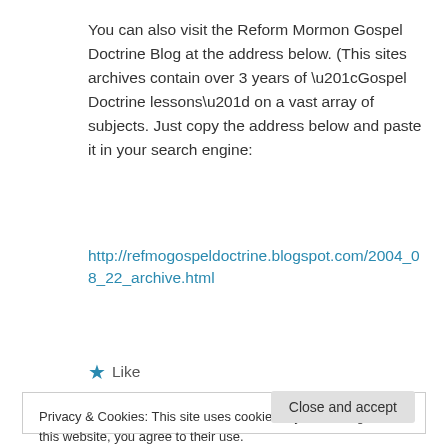You can also visit the Reform Mormon Gospel Doctrine Blog at the address below. (This sites archives contain over 3 years of “Gospel Doctrine lessons” on a vast array of subjects. Just copy the address below and paste it in your search engine:
http://refmogospeldoctrine.blogspot.com/2004_08_22_archive.html
★ Like
Privacy & Cookies: This site uses cookies. By continuing to use this website, you agree to their use.
To find out more, including how to control cookies, see here: Cookie Policy
Close and accept